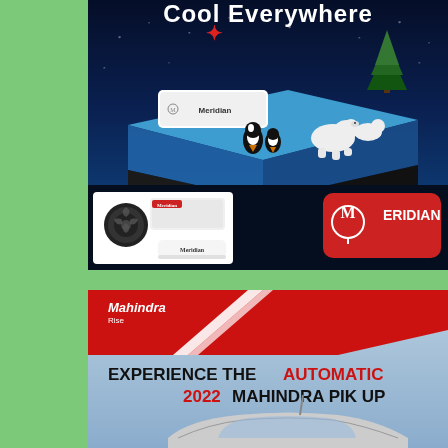[Figure (advertisement): Meridian air conditioner advertisement with tagline 'Cool Everywhere'. Dark blue background with arctic scene showing AC unit on ice block with polar bears, penguins, and Christmas trees. Bottom shows AC outdoor and indoor units on left, and Meridian logo in red box on right.]
[Figure (advertisement): Mahindra Rise advertisement for the automatic 2022 Mahindra Pik Up pickup truck. Red diagonal stripe at top with Mahindra Rise logo. Headline reads 'EXPERIENCE THE AUTOMATIC 2022 MAHINDRA PIK UP'. Light blue background with truck visible at bottom.]